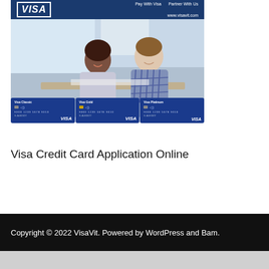[Figure (photo): Visa website banner showing the Visa logo header with navigation links 'Pay With Visa', 'Partner With Us', and 'www.visavit.com'. Below is a photo of two people (a Black woman and a white man) smiling and looking at each other, likely reviewing documents. Below the photo are three Visa credit cards: Visa Classic, Visa Gold, and Visa Platinum.]
Visa Credit Card Application Online
Copyright © 2022 VisaVit. Powered by WordPress and Bam.